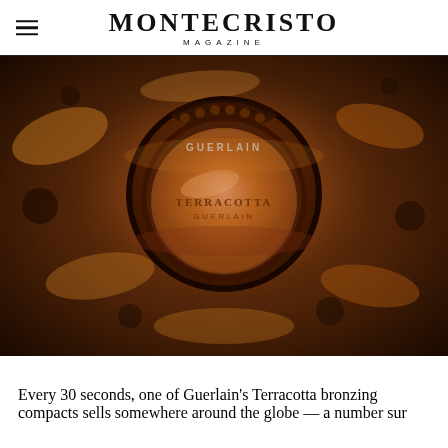MONTECRISTO MAGAZINE
[Figure (photo): Guerlain Terracotta bronzing compact powder surrounded by swirls of bronzing powder on a dark brown textured background. The round compact is open showing the bronzed powder inside, labeled TERRACOTTA GUERLAIN.]
Every 30 seconds, one of Guerlain's Terracotta bronzing compacts sells somewhere around the globe — a number sur...